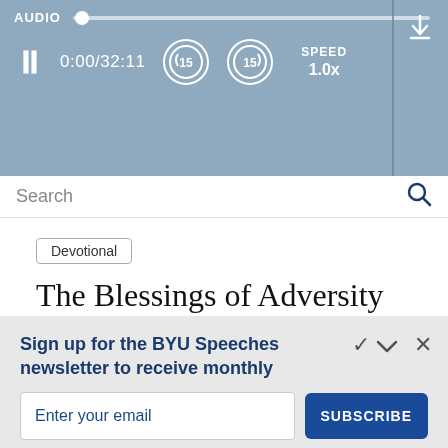[Figure (screenshot): Audio player bar with blue-grey background showing AUDIO label, progress track with dot, pause button, time 0:00/32:11, rewind 15s button, forward 15s button, SPEED 1.0x, vertical divider, and download icon]
Search
Devotional
The Blessings of Adversity
JAMES E. FAUST
Sign up for the BYU Speeches newsletter to receive monthly inspiration.
A little hope in your inbox.
Enter your email
SUBSCRIBE